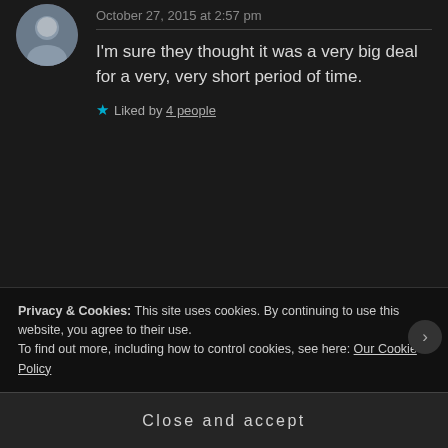October 27, 2015 at 2:57 pm
I'm sure they thought it was a very big deal for a very, very short period of time.
Liked by 4 people
KARL DROBNIC says:
October 27, 2015 at 3:40 pm
Privacy & Cookies: This site uses cookies. By continuing to use this website, you agree to their use.
To find out more, including how to control cookies, see here: Our Cookie Policy
Close and accept